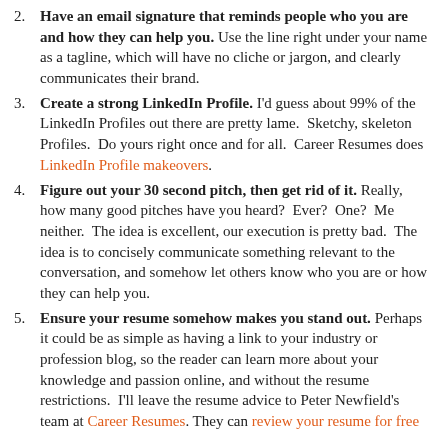2. Have an email signature that reminds people who you are and how they can help you. Use the line right under your name as a tagline, which will have no cliche or jargon, and clearly communicates their brand.
3. Create a strong LinkedIn Profile. I'd guess about 99% of the LinkedIn Profiles out there are pretty lame. Sketchy, skeleton Profiles. Do yours right once and for all. Career Resumes does LinkedIn Profile makeovers.
4. Figure out your 30 second pitch, then get rid of it. Really, how many good pitches have you heard? Ever? One? Me neither. The idea is excellent, our execution is pretty bad. The idea is to concisely communicate something relevant to the conversation, and somehow let others know who you are or how they can help you.
5. Ensure your resume somehow makes you stand out. Perhaps it could be as simple as having a link to your industry or profession blog, so the reader can learn more about your knowledge and passion online, and without the resume restrictions. I'll leave the resume advice to Peter Newfield's team at Career Resumes. They can review your resume for free